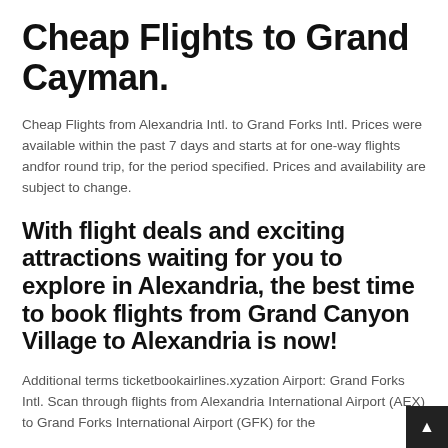Cheap Flights to Grand Cayman.
Cheap Flights from Alexandria Intl. to Grand Forks Intl. Prices were available within the past 7 days and starts at for one-way flights andfor round trip, for the period specified. Prices and availability are subject to change.
With flight deals and exciting attractions waiting for you to explore in Alexandria, the best time to book flights from Grand Canyon Village to Alexandria is now!
Additional terms ticketbookairlines.xyzation Airport: Grand Forks Intl. Scan through flights from Alexandria International Airport (AEX) to Grand Forks International Airport (GFK) for the